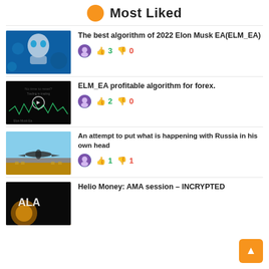Most Liked
[Figure (photo): Robot/AI humanoid image with blue tech background]
The best algorithm of 2022 Elon Musk EA(ELM_EA)
👍 3  👎 0
[Figure (screenshot): Dark video thumbnail with Elon Musk EA text and waveform]
ELM_EA profitable algorithm for forex.
👍 2  👎 0
[Figure (photo): Military aircraft over Russian building with yellow/gold facade]
An attempt to put what is happening with Russia in his own head
👍 1  👎 1
[Figure (photo): Dark space/planet image for Helio Money AMA session]
Helio Money: AMA session – INCRYPTED